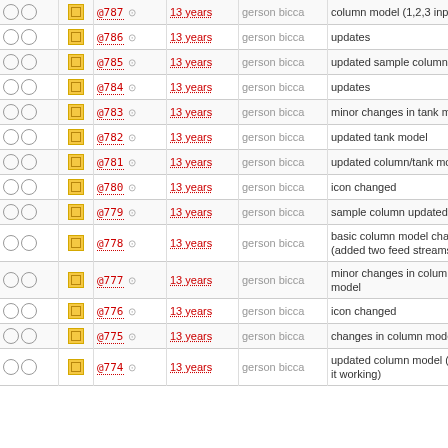|  |  | Rev | Age | User | Description |
| --- | --- | --- | --- | --- | --- |
| ○ ○ | □ | @787 | 13 years | gerson bicca | column model (1,2,3 inputs) |
| ○ ○ | □ | @786 | 13 years | gerson bicca | updates |
| ○ ○ | □ | @785 | 13 years | gerson bicca | updated sample column |
| ○ ○ | □ | @784 | 13 years | gerson bicca | updates |
| ○ ○ | □ | @783 | 13 years | gerson bicca | minor changes in tank model |
| ○ ○ | □ | @782 | 13 years | gerson bicca | updated tank model |
| ○ ○ | □ | @781 | 13 years | gerson bicca | updated column/tank model |
| ○ ○ | □ | @780 | 13 years | gerson bicca | icon changed |
| ○ ○ | □ | @779 | 13 years | gerson bicca | sample column updated |
| ○ ○ | □ | @778 | 13 years | gerson bicca | basic column model changed (added two feed streams) |
| ○ ○ | □ | @777 | 13 years | gerson bicca | minor changes in column model |
| ○ ○ | □ | @776 | 13 years | gerson bicca | icon changed |
| ○ ○ | □ | @775 | 13 years | gerson bicca | changes in column model |
| ○ ○ | □ | @774 | 13 years | gerson bicca | updated column model (to keep it working) |